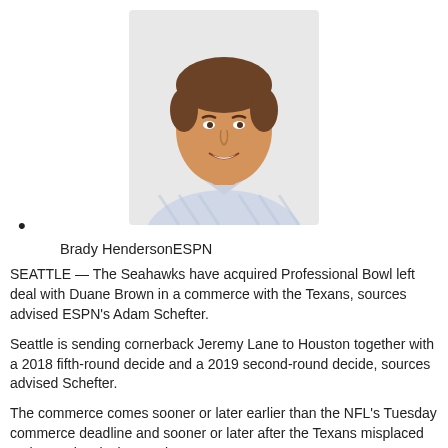[Figure (photo): Headshot photo of a young man smiling, wearing a striped collared shirt, brown hair, professional portrait style.]
•
Brady HendersonESPN
SEATTLE — The Seahawks have acquired Professional Bowl left deal with Duane Brown in a commerce with the Texans, sources advised ESPN's Adam Schefter.
Seattle is sending cornerback Jeremy Lane to Houston together with a 2018 fifth-round decide and a 2019 second-round decide, sources advised Schefter.
The commerce comes sooner or later earlier than the NFL's Tuesday commerce deadline and sooner or later after the Texans misplaced to the Seahawks in Seattle.